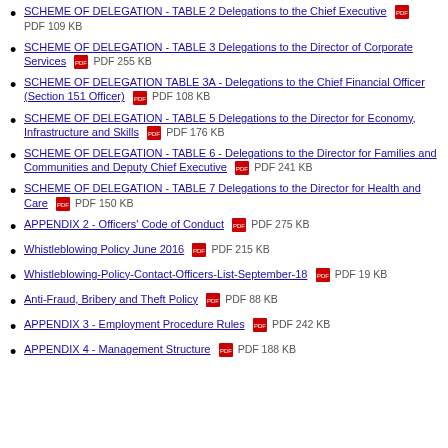SCHEME OF DELEGATION - TABLE 2 Delegations to the Chief Executive  PDF 109 KB
SCHEME OF DELEGATION - TABLE 3 Delegations to the Director of Corporate Services  PDF 255 KB
SCHEME OF DELEGATION TABLE 3A - Delegations to the Chief Financial Officer (Section 151 Officer)  PDF 108 KB
SCHEME OF DELEGATION - TABLE 5 Delegations to the Director for Economy, Infrastructure and Skills  PDF 176 KB
SCHEME OF DELEGATION - TABLE 6 - Delegations to the Director for Families and Communities and Deputy Chief Executive  PDF 241 KB
SCHEME OF DELEGATION - TABLE 7 Delegations to the Director for Health and Care  PDF 150 KB
APPENDIX 2 - Officers' Code of Conduct  PDF 275 KB
Whistleblowing Policy June 2016  PDF 215 KB
Whistleblowing-Policy-Contact-Officers-List-September-18  PDF 19 KB
Anti-Fraud, Bribery and Theft Policy  PDF 88 KB
APPENDIX 3 - Employment Procedure Rules  PDF 242 KB
APPENDIX 4 - Management Structure  PDF 188 KB